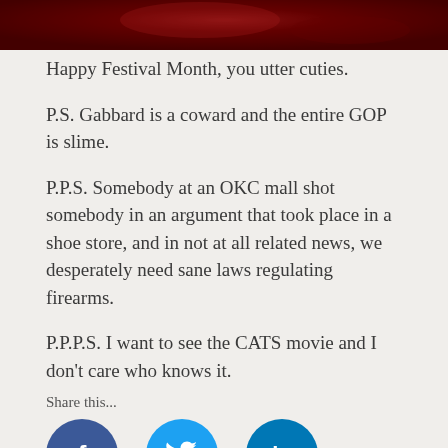[Figure (photo): Dark red/maroon blurred hero image at the top of the page]
Happy Festival Month, you utter cuties.
P.S. Gabbard is a coward and the entire GOP is slime.
P.P.S. Somebody at an OKC mall shot somebody in an argument that took place in a shoe store, and in not at all related news, we desperately need sane laws regulating firearms.
P.P.P.S. I want to see the CATS movie and I don't care who knows it.
Share this...
[Figure (infographic): Social media sharing icons: Facebook (blue circle with f), Twitter (light blue circle with bird icon), LinkedIn (teal circle with in), Pinterest (red circle with P), WhatsApp (green circle with phone icon)]